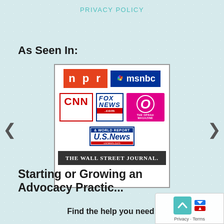PRIVACY POLICY
As Seen In:
[Figure (logo): Media logos collage featuring NPR, MSNBC, CNN, Fox News, The Oprah Magazine, US News & World Report, and The Wall Street Journal]
Starting or Growing an Advocacy Practic...
Find the help you need: